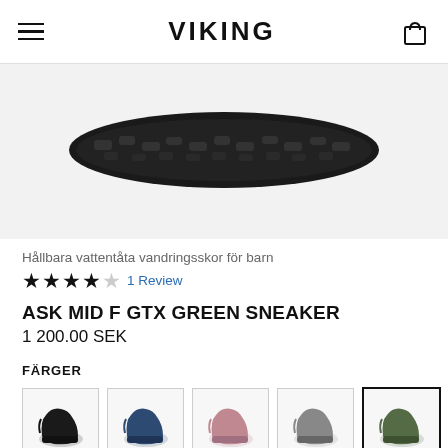VIKING
[Figure (photo): Bottom view of a black hiking boot sole on a light grey background]
Hållbara vattentåta vandringsskor för barn
★★★★☆ 1 Review
ASK MID F GTX GREEN SNEAKER
1 200.00 SEK
FÄRGER
[Figure (photo): Five color variant thumbnails of children's hiking boots: black, dark blue, pink/mauve, grey, and green (selected/highlighted)]